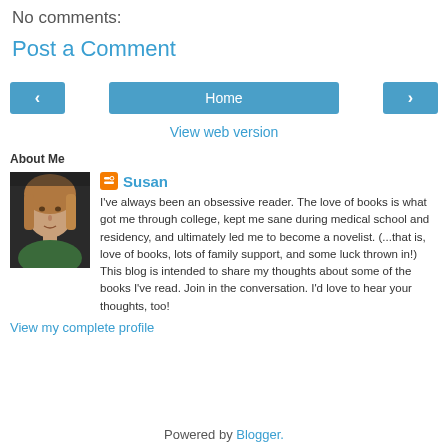No comments:
Post a Comment
< Home >  View web version
About Me
Susan
I've always been an obsessive reader. The love of books is what got me through college, kept me sane during medical school and residency, and ultimately led me to become a novelist. (...that is, love of books, lots of family support, and some luck thrown in!) This blog is intended to share my thoughts about some of the books I've read. Join in the conversation. I'd love to hear your thoughts, too!
View my complete profile
Powered by Blogger.